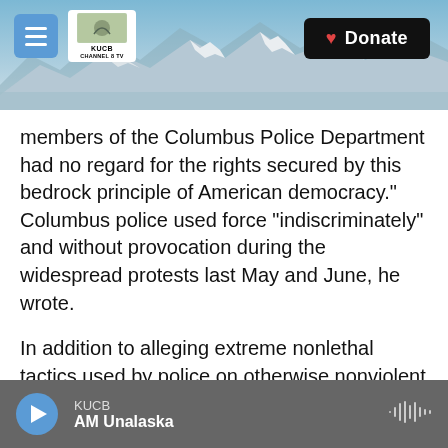[Figure (screenshot): Website header with KUCB Channel 8 TV logo, hamburger menu button, snowy mountain landscape background photo, and black Donate button with heart icon]
members of the Columbus Police Department had no regard for the rights secured by this bedrock principle of American democracy." Columbus police used force "indiscriminately" and without provocation during the widespread protests last May and June, he wrote.
In addition to alleging extreme nonlethal tactics used by police on otherwise nonviolent protesters, the lawsuit also accused police of collective punishment — responding to a single protester "who threw a water bottle, harassed or taunted an officer" by indiscriminately pepper spraying or tear
KUCB
AM Unalaska